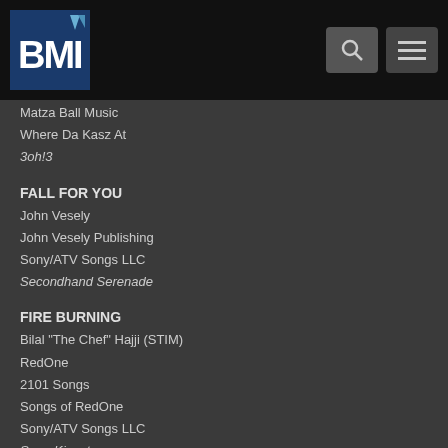BMI
Matza Ball Music
Where Da Kasz At
3oh!3
FALL FOR YOU
John Vesely
John Vesely Publishing
Sony/ATV Songs LLC
Secondhand Serenade
FIRE BURNING
Bilal "The Chef" Hajji (STIM)
RedOne
2101 Songs
Songs of RedOne
Sony/ATV Songs LLC
Sean Kingston